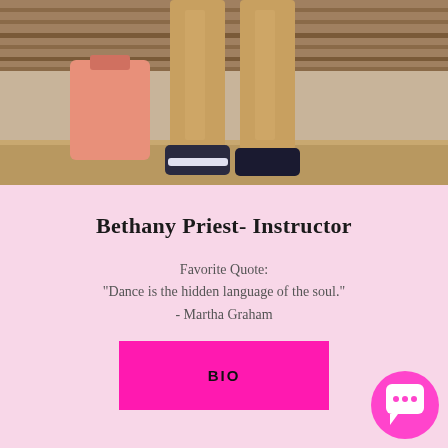[Figure (photo): Photo of a person outdoors near wooden fence, showing legs and lower body wearing tan/khaki pants and dark shoes, with a pink bag visible. Background shows wooden planks and ground.]
Bethany Priest- Instructor
Favorite Quote:
"Dance is the hidden language of the soul."
- Martha Graham
BIO